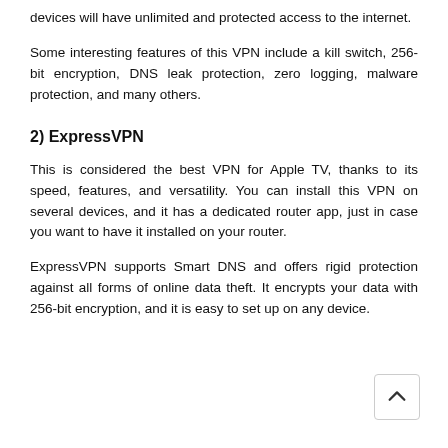devices will have unlimited and protected access to the internet.
Some interesting features of this VPN include a kill switch, 256-bit encryption, DNS leak protection, zero logging, malware protection, and many others.
2) ExpressVPN
This is considered the best VPN for Apple TV, thanks to its speed, features, and versatility. You can install this VPN on several devices, and it has a dedicated router app, just in case you want to have it installed on your router.
ExpressVPN supports Smart DNS and offers rigid protection against all forms of online data theft. It encrypts your data with 256-bit encryption, and it is easy to set up on any device.